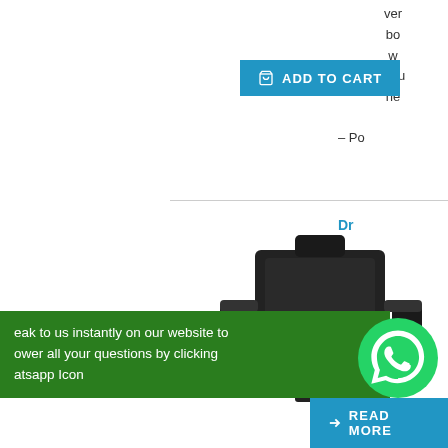ver bo w adju he
[Figure (other): Add to Cart button in blue]
– Po
Dr
[Figure (photo): Black salon/barber chair with armrests]
eak to us instantly on our website to ower all your questions by clicking atsapp Icon
[Figure (logo): WhatsApp green circle icon]
[Figure (other): Read More button in blue with arrow]